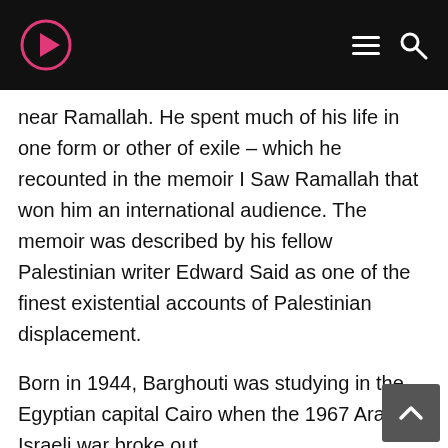[Logo] [Hamburger menu] [Search icon]
near Ramallah. He spent much of his life in one form or other of exile – which he recounted in the memoir I Saw Ramallah that won him an international audience. The memoir was described by his fellow Palestinian writer Edward Said as one of the finest existential accounts of Palestinian displacement.
Born in 1944, Barghouti was studying in the Egyptian capital Cairo when the 1967 Arab-Israeli war broke out.
He did not return to his birthplace for another 30 years. His sense of being forever uprooted was examined in I Saw Ramallah but also in many of the poems he published in